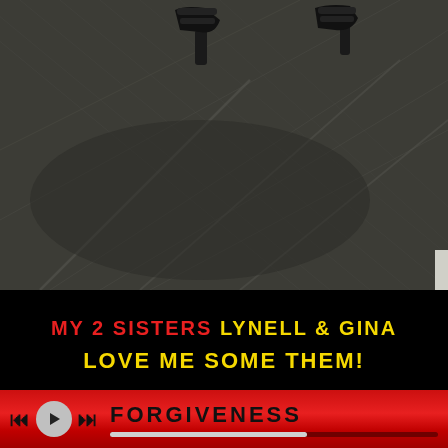[Figure (photo): Overhead/low-angle photo of dark grey carpet tiles with two people's feet/shoes visible at the top of the frame — one person wearing black heeled sandals on the left, another wearing black sandals on the right.]
MY 2 SISTERS LYNELL & GINA
LOVE ME SOME THEM!
FORGIVENESS